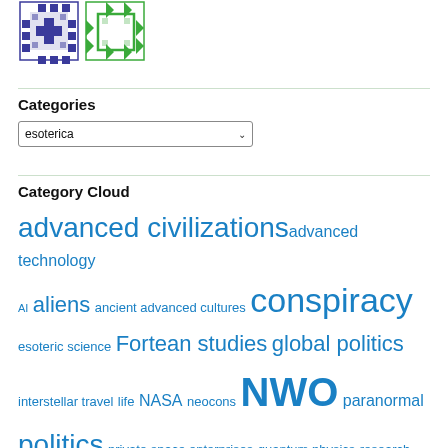[Figure (logo): Decorative logo with blue and green geometric/cross-hatch tile patterns]
Categories
esoterica (dropdown)
Category Cloud
advanced civilizations  advanced technology  AI  aliens  ancient advanced cultures  conspiracy  esoteric science  Fortean studies  global politics  interstellar travel  life  NASA  neocons  NWO  paranormal  politics  private space enterprises  quantum physics  research